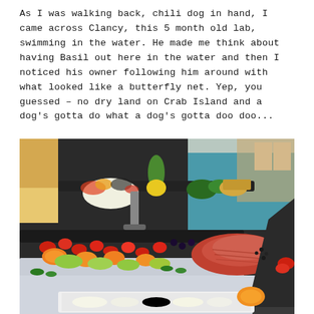As I was walking back, chili dog in hand, I came across Clancy, this 5 month old lab, swimming in the water. He made me think about having Basil out here in the water and then I noticed his owner following him around with what looked like a butterfly net. Yep, you guessed – no dry land on Crab Island and a dog's gotta do what a dog's gotta doo doo...
[Figure (photo): A large buffet spread with multiple tiered platters of colorful food including fruits (strawberries, oranges, pineapple), vegetables, smoked salmon, and various party foods arranged on black trays, with what appears to be a pool or water feature visible in the background.]